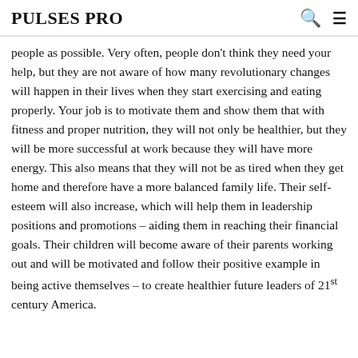PULSES PRO
people as possible. Very often, people don't think they need your help, but they are not aware of how many revolutionary changes will happen in their lives when they start exercising and eating properly. Your job is to motivate them and show them that with fitness and proper nutrition, they will not only be healthier, but they will be more successful at work because they will have more energy. This also means that they will not be as tired when they get home and therefore have a more balanced family life. Their self-esteem will also increase, which will help them in leadership positions and promotions – aiding them in reaching their financial goals. Their children will become aware of their parents working out and will be motivated and follow their positive example in being active themselves – to create healthier future leaders of 21st century America.